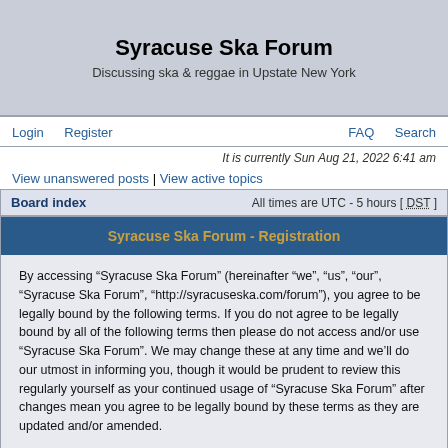Syracuse Ska Forum
Discussing ska & reggae in Upstate New York
Login  Register  FAQ  Search
It is currently Sun Aug 21, 2022 6:41 am
View unanswered posts | View active topics
Board index  All times are UTC - 5 hours [ DST ]
Syracuse Ska Forum - Registration
By accessing “Syracuse Ska Forum” (hereinafter “we”, “us”, “our”, “Syracuse Ska Forum”, “http://syracuseska.com/forum”), you agree to be legally bound by the following terms. If you do not agree to be legally bound by all of the following terms then please do not access and/or use “Syracuse Ska Forum”. We may change these at any time and we’ll do our utmost in informing you, though it would be prudent to review this regularly yourself as your continued usage of “Syracuse Ska Forum” after changes mean you agree to be legally bound by these terms as they are updated and/or amended.
Our forums are powered by phpBB (hereinafter “they”, “them”, “their”, “phpBB software”, “www.phpbb.com”, “phpBB Group”, “phpBB Teams”) which is a bulletin board solution released under the “General Public License” (hereinafter “GPL”) and can be downloaded